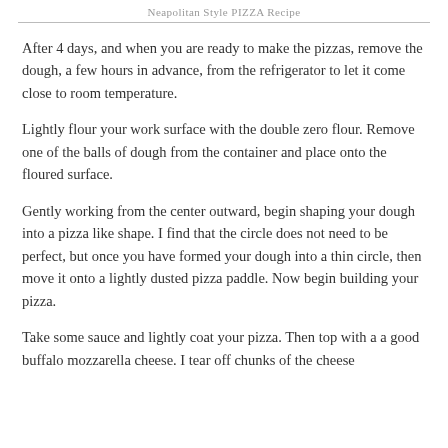Neapolitan Style PIZZA Recipe
After 4 days, and when you are ready to make the pizzas, remove the dough, a few hours in advance, from the refrigerator to let it come close to room temperature.
Lightly flour your work surface with the double zero flour. Remove one of the balls of dough from the container and place onto the floured surface.
Gently working from the center outward, begin shaping your dough into a pizza like shape. I find that the circle does not need to be perfect, but once you have formed your dough into a thin circle, then move it onto a lightly dusted pizza paddle. Now begin building your pizza.
Take some sauce and lightly coat your pizza. Then top with a a good buffalo mozzarella cheese. I tear off chunks of the cheese